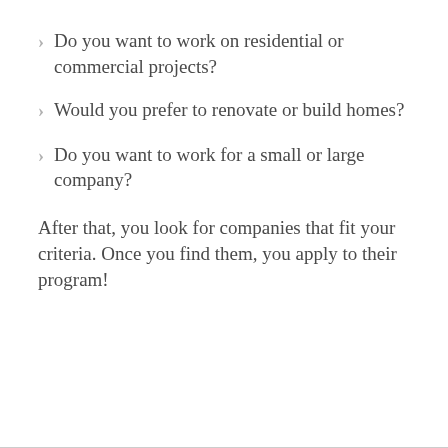Do you want to work on residential or commercial projects?
Would you prefer to renovate or build homes?
Do you want to work for a small or large company?
After that, you look for companies that fit your criteria. Once you find them, you apply to their program!